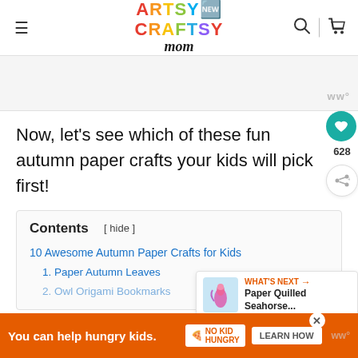Artsy Craftsy Mom — navigation header with hamburger menu, logo, search and cart icons
[Figure (other): Partial image placeholder with ww° watermark badge in bottom right]
Now, let's see which of these fun autumn paper crafts your kids will pick first!
Contents [ hide ]
10 Awesome Autumn Paper Crafts for Kids
1. Paper Autumn Leaves
2. Owl Origami Bookmarks
[Figure (other): What's Next promotional card showing Paper Quilled Seahorse with seahorse thumbnail]
You can help hungry kids. NO KID HUNGRY LEARN HOW — advertisement banner